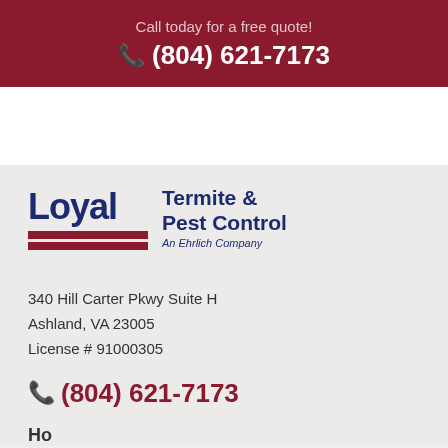Call today for a free quote!
(804) 621-7173
[Figure (logo): Loyal Termite & Pest Control logo — An Ehrlich Company]
340 Hill Carter Pkwy Suite H
Ashland, VA 23005
License # 91000305
(804) 621-7173
Hours